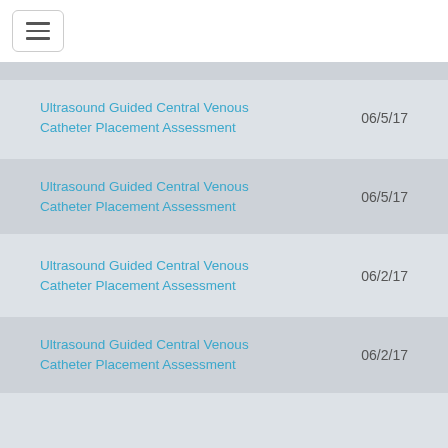Ultrasound Guided Central Venous Catheter Placement Assessment  06/5/17
Ultrasound Guided Central Venous Catheter Placement Assessment  06/5/17
Ultrasound Guided Central Venous Catheter Placement Assessment  06/2/17
Ultrasound Guided Central Venous Catheter Placement Assessment  06/2/17